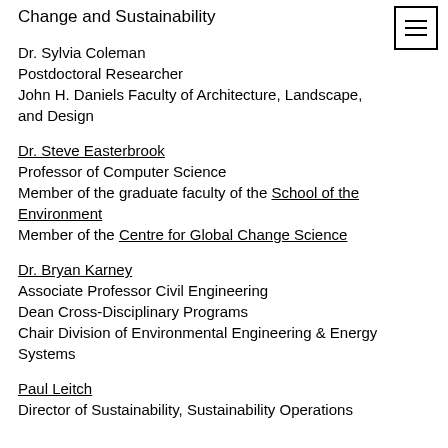Change and Sustainability
Dr. Sylvia Coleman
Postdoctoral Researcher
John H. Daniels Faculty of Architecture, Landscape, and Design
Dr. Steve Easterbrook
Professor of Computer Science
Member of the graduate faculty of the School of the Environment
Member of the Centre for Global Change Science
Dr. Bryan Karney
Associate Professor Civil Engineering
Dean Cross-Disciplinary Programs
Chair Division of Environmental Engineering & Energy Systems
Paul Leitch
Director of Sustainability, Sustainability Operations